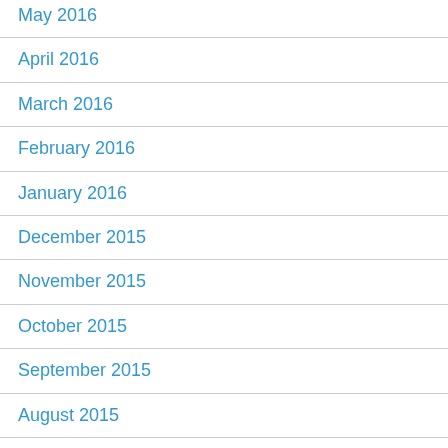May 2016
April 2016
March 2016
February 2016
January 2016
December 2015
November 2015
October 2015
September 2015
August 2015